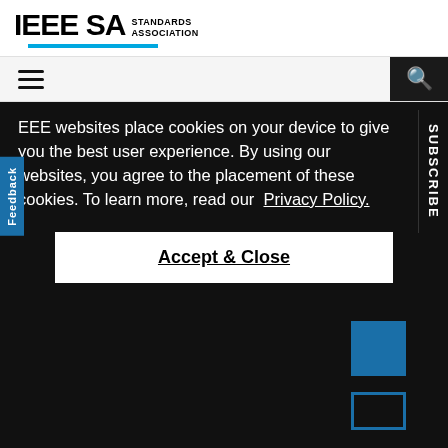[Figure (logo): IEEE SA Standards Association logo with blue underline]
[Figure (screenshot): Navigation bar with hamburger menu on left and search icon on right dark box]
IEEE Standard Adoption of ISO/IEC 15939:2007--Systems and
IEEE websites place cookies on your device to give you the best user experience. By using our websites, you agree to the placement of these cookies. To learn more, read our Privacy Policy.
Accept & Close